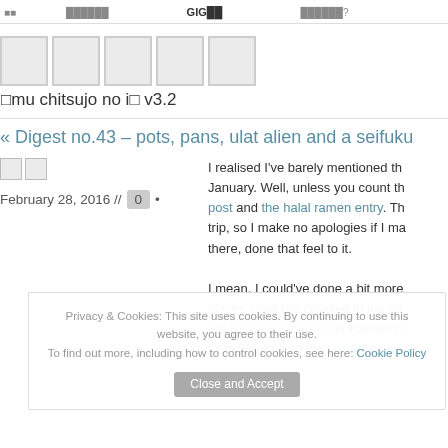■■  ██████  GIG██  ██████?
[Figure (logo): Five gray placeholder squares forming a logo]
□mu chitsujo no i□ v3.2
« Digest no.43 – pots, pans, ulat alien and a seifuku
□□  February 28, 2016 // 0
I realised I've barely mentioned th... January. Well, unless you count th... post and the halal ramen entry. Th... trip, so I make no apologies if I ma... there, done that feel to it. I mean, I could've done a bit more... places I had not covered in my pa... out Robot Restaurant in Kabukich... from Shinjuku to the Ghibli Muse...
Privacy & Cookies: This site uses cookies. By continuing to use this website, you agree to their use. To find out more, including how to control cookies, see here: Cookie Policy
Close and Accept